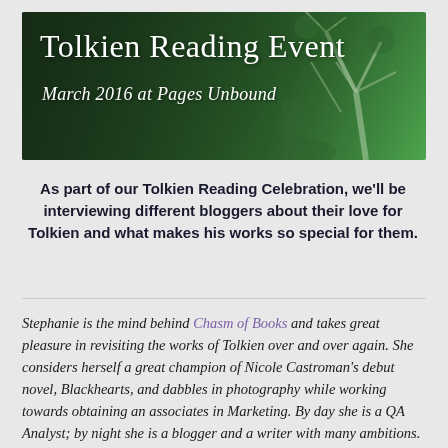[Figure (illustration): Banner image with dark green forest/tree background. Title reads 'Tolkien Reading Event' in large white serif font. Subtitle reads 'March 2016 at Pages Unbound' in white italic script.]
As part of our Tolkien Reading Celebration, we'll be interviewing different bloggers about their love for Tolkien and what makes his works so special for them.
Stephanie is the mind behind Chasm of Books and takes great pleasure in revisiting the works of Tolkien over and over again. She considers herself a great champion of Nicole Castroman's debut novel, Blackhearts, and dabbles in photography while working towards obtaining an associates in Marketing. By day she is a QA Analyst; by night she is a blogger and a writer with many ambitions.